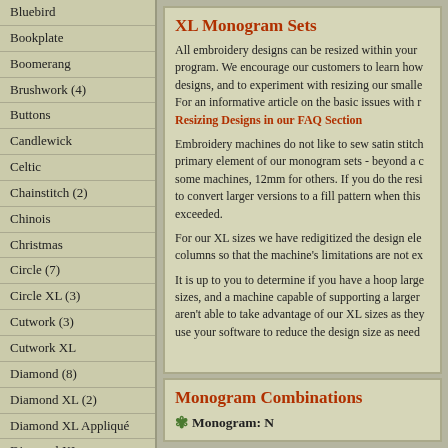Bluebird
Bookplate
Boomerang
Brushwork (4)
Buttons
Candlewick
Celtic
Chainstitch (2)
Chinois
Christmas
Circle (7)
Circle XL (3)
Cutwork (3)
Cutwork XL
Diamond (8)
Diamond XL (2)
Diamond XL Appliqué
Diamond XL
Diplomat
Empire
XL Monogram Sets
All embroidery designs can be resized within your program. We encourage our customers to learn how designs, and to experiment with resizing our smalle For an informative article on the basic issues with r Resizing Designs in our FAQ Section
Embroidery machines do not like to sew satin stitch primary element of our monogram sets - beyond a c some machines, 12mm for others. If you do the resi to convert larger versions to a fill pattern when this exceeded.
For our XL sizes we have redigitized the design ele columns so that the machine's limitations are not ex
It is up to you to determine if you have a hoop large sizes, and a machine capable of supporting a larger aren't able to take advantage of our XL sizes as they use your software to reduce the design size as need
Monogram Combinations
Monogram: N